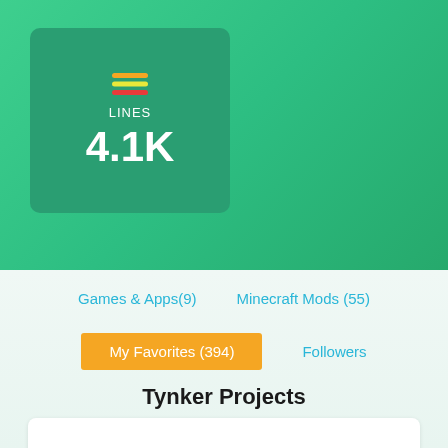[Figure (infographic): Green gradient header with a darker green card showing stacked lines icon, 'LINES' label, and '4.1K' value]
Games & Apps(9)
Minecraft Mods (55)
My Favorites (394)
Followers
Tynker Projects